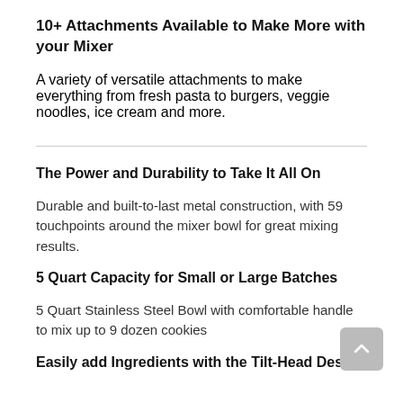10+ Attachments Available to Make More with your Mixer
A variety of versatile attachments to make everything from fresh pasta to burgers, veggie noodles, ice cream and more.
The Power and Durability to Take It All On
Durable and built-to-last metal construction, with 59 touchpoints around the mixer bowl for great mixing results.
5 Quart Capacity for Small or Large Batches
5 Quart Stainless Steel Bowl with comfortable handle to mix up to 9 dozen cookies
Easily add Ingredients with the Tilt-Head Design